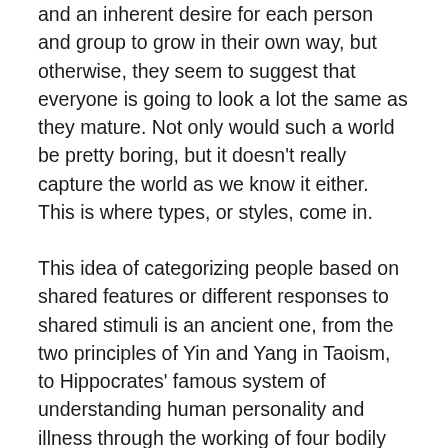and an inherent desire for each person and group to grow in their own way, but otherwise, they seem to suggest that everyone is going to look a lot the same as they mature. Not only would such a world be pretty boring, but it doesn't really capture the world as we know it either. This is where types, or styles, come in.
This idea of categorizing people based on shared features or different responses to shared stimuli is an ancient one, from the two principles of Yin and Yang in Taoism, to Hippocrates' famous system of understanding human personality and illness through the working of four bodily fluids. From the latter, we get words like 'sanguine', 'phlegmatic,' and 'melancholy', which are still used today to describe people with certain personality traits. These days, typology seems more popular than ever, as people seeking to understand themselves will likely know one or more of their MBTI types (including the every